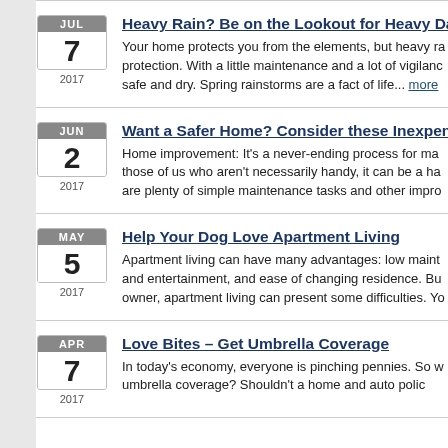JUL 7 2017 — Heavy Rain? Be on the Lookout for Heavy Dam... Your home protects you from the elements, but heavy ra... protection. With a little maintenance and a lot of vigilanc... safe and dry. Spring rainstorms are a fact of life... more
JUN 2 2017 — Want a Safer Home? Consider these Inexpens... Home improvement: It's a never-ending process for ma... those of us who aren't necessarily handy, it can be a ha... are plenty of simple maintenance tasks and other impro...
MAY 5 2017 — Help Your Dog Love Apartment Living Apartment living can have many advantages: low maint... and entertainment, and ease of changing residence. Bu... owner, apartment living can present some difficulties. Yo...
APR 7 2017 — Love Bites – Get Umbrella Coverage In today's economy, everyone is pinching pennies. So w... umbrella coverage? Shouldn't a home and auto polic...